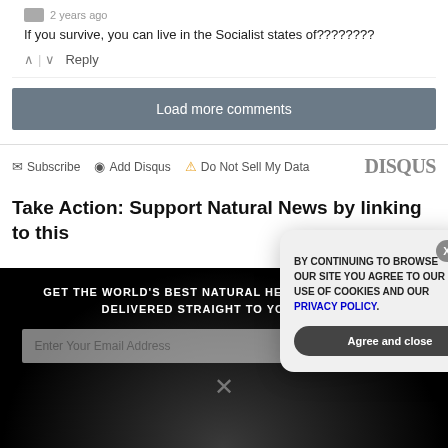2 years ago
If you survive, you can live in the Socialist states of????????
^ | v Reply
Load more comments
Subscribe  Add Disqus  Do Not Sell My Data  DISQUS
Take Action: Support Natural News by linking to this
GET THE WORLD'S BEST NATURAL HEALTH NEWSLETTER DELIVERED STRAIGHT TO YOUR INBOX
Enter Your Email Address
SUBSCRIBE
BY CONTINUING TO BROWSE OUR SITE YOU AGREE TO OUR USE OF COOKIES AND OUR PRIVACY POLICY.
Agree and close